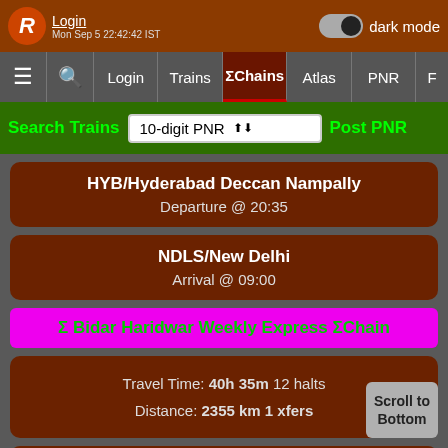Login | dark mode | Mon Sep 5 22:42:42 IST
≡ | Search | Login | Trains | ΣChains | Atlas | PNR | F
Search Trains | 10-digit PNR | Post PNR
HYB/Hyderabad Deccan Nampally
Departure @ 20:35
NDLS/New Delhi
Arrival @ 09:00
Σ Bidar Haridwar Weekly Express ΣChain
Travel Time: 40h 35m  12 halts
Distance: 2355 km  1 xfers
BIDR/Bidar
Departure @ 19:50
HW/Haridwar
Arrival @ 10:25